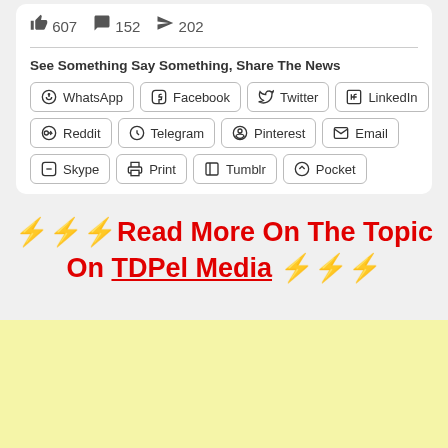👍 607  💬 152  ➤ 202
See Something Say Something, Share The News
WhatsApp | Facebook | Twitter | LinkedIn | Reddit | Telegram | Pinterest | Email | Skype | Print | Tumblr | Pocket
⚡⚡⚡Read More On The Topic On TDPel Media ⚡⚡⚡
[Figure (other): Yellow advertisement banner area at the bottom of the page]